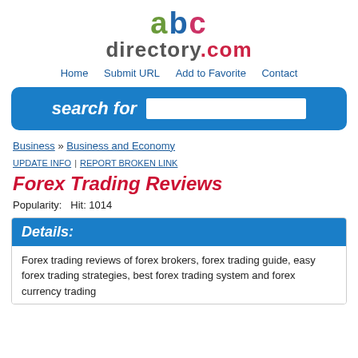[Figure (logo): abcdirectory.com logo with colorful letters]
Home | Submit URL | Add to Favorite | Contact
[Figure (other): Search bar with label 'search for' and input box]
Business » Business and Economy
UPDATE INFO | REPORT BROKEN LINK
Forex Trading Reviews
Popularity:   Hit: 1014
Details:
Forex trading reviews of forex brokers, forex trading guide, easy forex trading strategies, best forex trading system and forex currency trading